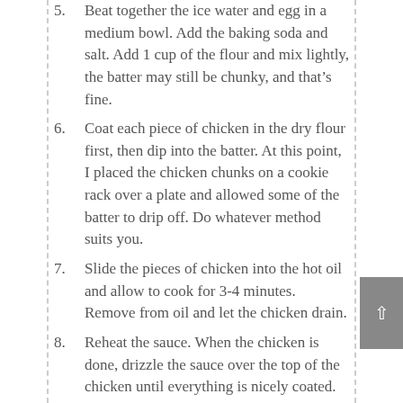5. Beat together the ice water and egg in a medium bowl. Add the baking soda and salt. Add 1 cup of the flour and mix lightly, the batter may still be chunky, and that’s fine.
6. Coat each piece of chicken in the dry flour first, then dip into the batter. At this point, I placed the chicken chunks on a cookie rack over a plate and allowed some of the batter to drip off. Do whatever method suits you.
7. Slide the pieces of chicken into the hot oil and allow to cook for 3-4 minutes. Remove from oil and let the chicken drain.
8. Reheat the sauce. When the chicken is done, drizzle the sauce over the top of the chicken until everything is nicely coated. Stir once or twice – no more, or risk mushy orange chicken.